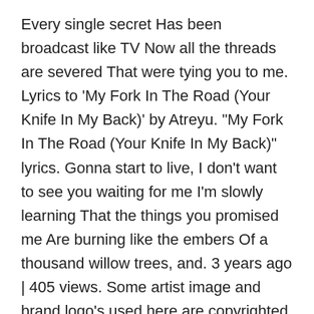Every single secret Has been broadcast like TV Now all the threads are severed That were tying you to me. Lyrics to 'My Fork In The Road (Your Knife In My Back)' by Atreyu. "My Fork In The Road (Your Knife In My Back)" lyrics. Gonna start to live, I don't want to see you waiting for me I'm slowly learning That the things you promised me Are burning like the embers Of a thousand willow trees, and. 3 years ago | 405 views. Some artist image and brand logo's used here are copyrighted content to that respective owner or company. If you want to know more about Alec Benjamin, like when Alec Benjamin started, what was the debut album, how the journey begins then please check out Alec